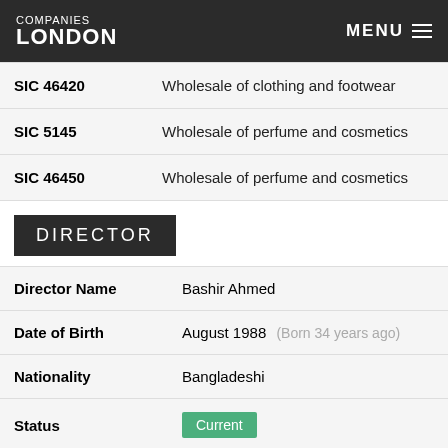COMPANIES LONDON  MENU
| Code | Description |
| --- | --- |
| SIC 46420 | Wholesale of clothing and footwear |
| SIC 5145 | Wholesale of perfume and cosmetics |
| SIC 46450 | Wholesale of perfume and cosmetics |
DIRECTOR
| Field | Value |
| --- | --- |
| Director Name | Bashir Ahmed |
| Date of Birth | August 1988  (Born 34 years ago) |
| Nationality | Bangladeshi |
| Status | Current |